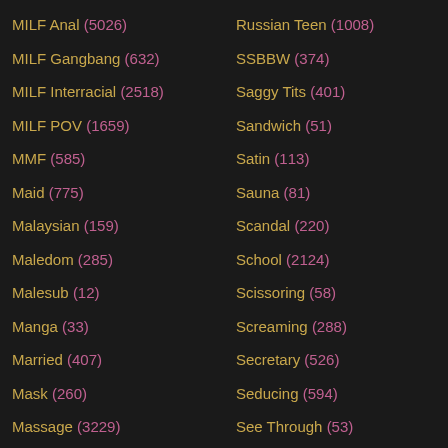MILF Anal (5026)
MILF Gangbang (632)
MILF Interracial (2518)
MILF POV (1659)
MMF (585)
Maid (775)
Malaysian (159)
Maledom (285)
Malesub (12)
Manga (33)
Married (407)
Mask (260)
Massage (3229)
Masseuse (309)
Massive Tits (86)
Master (325)
Russian Teen (1008)
SSBBW (374)
Saggy Tits (401)
Sandwich (51)
Satin (113)
Sauna (81)
Scandal (220)
School (2124)
Scissoring (58)
Screaming (288)
Secretary (526)
Seducing (594)
See Through (53)
Self Facial (64)
Self Fisting (68)
Self Fuck (329)